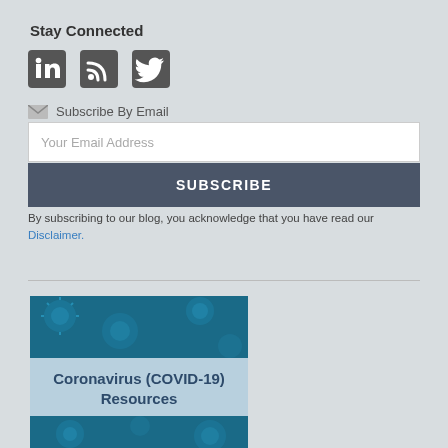Stay Connected
[Figure (infographic): Social media icons: LinkedIn, RSS feed, Twitter]
Subscribe By Email
Your Email Address
SUBSCRIBE
By subscribing to our blog, you acknowledge that you have read our Disclaimer.
[Figure (illustration): Coronavirus (COVID-19) Resources banner image with virus microscopy background and text overlay]